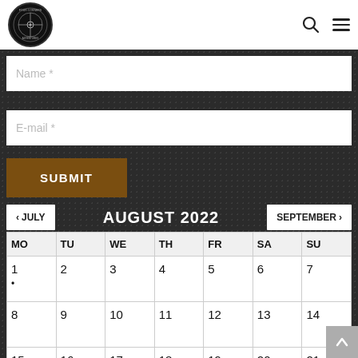Navigation header with logo, search icon, and menu icon
Name *
E-mail *
SUBMIT
< JULY   AUGUST 2022   SEPTEMBER >
| MO | TU | WE | TH | FR | SA | SU |
| --- | --- | --- | --- | --- | --- | --- |
| 1 • | 2 | 3 | 4 | 5 | 6 | 7 |
| 8 | 9 | 10 | 11 | 12 | 13 | 14 |
| 15 | 16 | 17 | 18 | 19 | 20 | 21 |